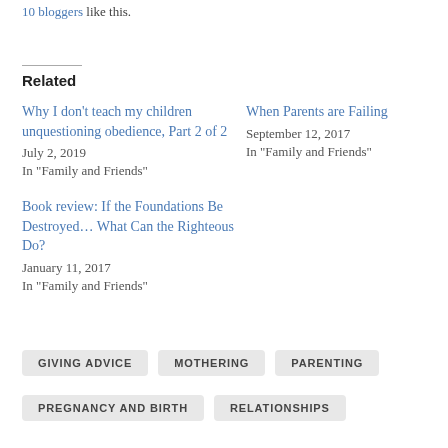10 bloggers like this.
Related
Why I don't teach my children unquestioning obedience, Part 2 of 2
July 2, 2019
In "Family and Friends"
When Parents are Failing
September 12, 2017
In "Family and Friends"
Book review: If the Foundations Be Destroyed… What Can the Righteous Do?
January 11, 2017
In "Family and Friends"
GIVING ADVICE
MOTHERING
PARENTING
PREGNANCY AND BIRTH
RELATIONSHIPS